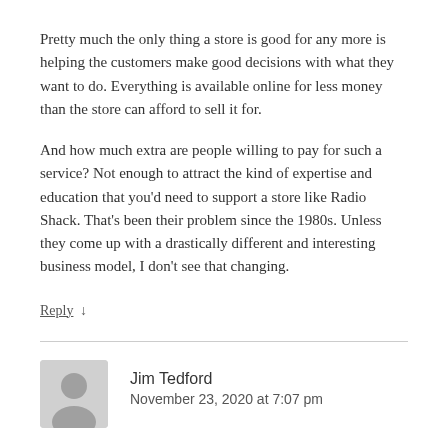Pretty much the only thing a store is good for any more is helping the customers make good decisions with what they want to do. Everything is available online for less money than the store can afford to sell it for.
And how much extra are people willing to pay for such a service? Not enough to attract the kind of expertise and education that you'd need to support a store like Radio Shack. That's been their problem since the 1980s. Unless they come up with a drastically different and interesting business model, I don't see that changing.
Reply ↓
Jim Tedford
November 23, 2020 at 7:07 pm